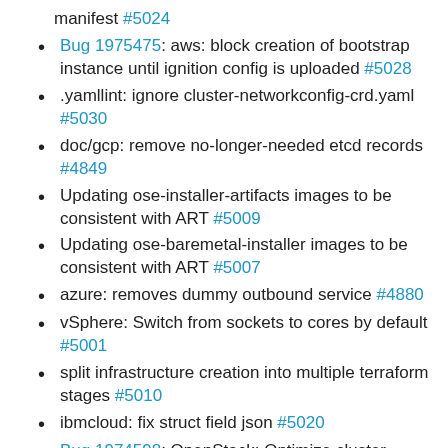manifest #5024
Bug 1975475: aws: block creation of bootstrap instance until ignition config is uploaded #5028
.yamllint: ignore cluster-networkconfig-crd.yaml #5030
doc/gcp: remove no-longer-needed etcd records #4849
Updating ose-installer-artifacts images to be consistent with ART #5009
Updating ose-baremetal-installer images to be consistent with ART #5007
azure: removes dummy outbound service #4880
vSphere: Switch from sockets to cores by default #5001
split infrastructure creation into multiple terraform stages #5010
ibmcloud: fix struct field json #5020
Bug 1974598: OpenStack: Optimize cluster deletion #5004